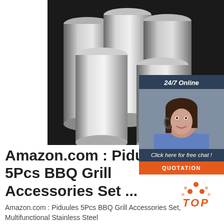[Figure (photo): Photo of shiny stainless steel round rods/bars arranged on a dark surface, showing metallic reflective surfaces]
[Figure (infographic): Chat widget with dark blue background showing '24/7 Online' header, photo of a female customer service representative wearing a headset, 'Click here for free chat!' text, and an orange QUOTATION button]
Amazon.com : Piduules 5Pcs BBQ Grill Accessories Set ...
[Figure (logo): TOP logo with orange dots arranged in triangle shape above orange italic TOP text]
Amazon.com : Piduules 5Pcs BBQ Grill Accessories Set, Multifunctional Stainless Steel